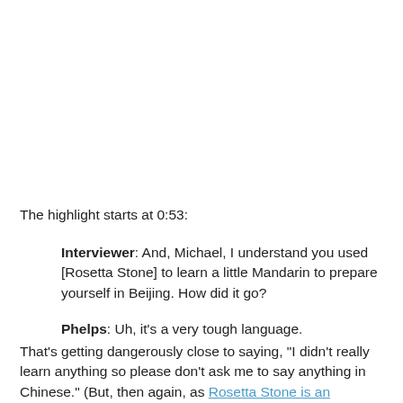The highlight starts at 0:53:
Interviewer: And, Michael, I understand you used [Rosetta Stone] to learn a little Mandarin to prepare yourself in Beijing. How did it go?
Phelps: Uh, it's a very tough language.
That's getting dangerously close to saying, "I didn't really learn anything so please don't ask me to say anything in Chinese." (But, then again, as Rosetta Stone is an advertiser on Fox, I suppose he didn't really need to worry about getting